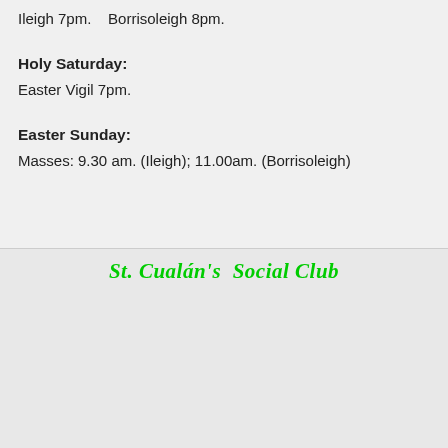Ileigh 7pm.    Borrisoleigh 8pm.
Holy Saturday:
Easter Vigil 7pm.
Easter Sunday:
Masses: 9.30 am. (Ileigh); 11.00am. (Borrisoleigh)
St. Cualán's  Social Club
[Figure (logo): St Cualan's Social Club logo with text 'ST CUALAN'S SOCIAL CLUB' and below 'ANNUAL TRIP TO MOUNT ST JOSEPH ABBEY']